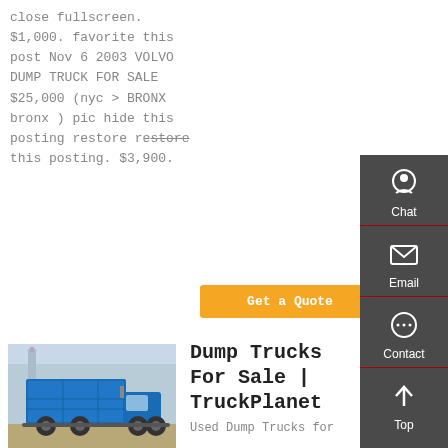close fullscreen. $1,000. favorite this post Nov 6 2003 VOLVO DUMP TRUCK FOR SALE $25,000 (nyc > BRONX bronx ) pic hide this posting restore restore this posting. $3,900.
Get a Quote
[Figure (screenshot): Sidebar widget with Chat, Email, Contact, and Top navigation icons on dark grey background]
[Figure (photo): Blue dump truck parked on dirt lot with trees in background]
Dump Trucks For Sale | TruckPlanet
Used Dump Trucks for